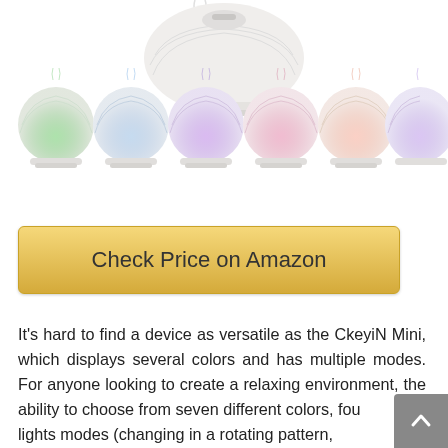[Figure (photo): Product photo of CkeyiN Mini essential oil diffuser humidifier. Top shows a large white ribbed round diffuser with steam coming out. Below are six smaller versions of the same diffuser each lit in a different color: green, light blue, purple, pink/magenta, peach/salmon, and lavender.]
Check Price on Amazon
It's hard to find a device as versatile as the CkeyiN Mini, which displays several colors and has multiple modes. For anyone looking to create a relaxing environment, the ability to choose from seven different colors, four lights modes (changing in a rotating pattern, brightness adjustment, fading in and out),